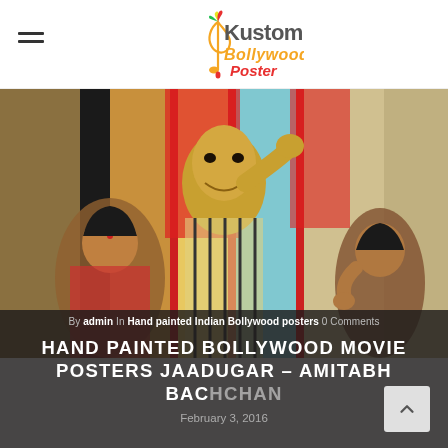Kustom Bollywood Poster — hamburger menu + logo
[Figure (photo): Hand painted Bollywood movie poster illustration showing characters from Jaadugar, with a bald figure in center and two women, colorful background with red pillars]
By admin In Hand painted Indian Bollywood posters 0 Comments
HAND PAINTED BOLLYWOOD MOVIE POSTERS JAADUGAR – AMITABH BACHCHAN
February 3, 2016